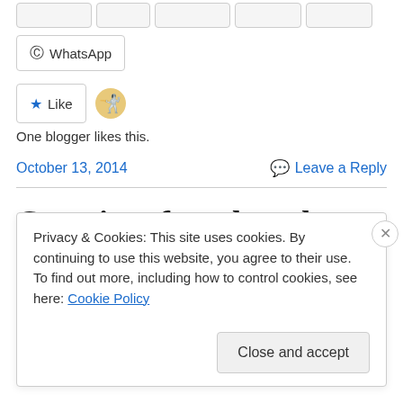[Figure (screenshot): Partial row of social share buttons cropped at top of page]
[Figure (screenshot): WhatsApp share button]
[Figure (screenshot): Like button with blue star and blogger avatar emoji]
One blogger likes this.
October 13, 2014
Leave a Reply
Genetics of math and reading
Yesterday, I blogged about the misuse of the word “proof”
Privacy & Cookies: This site uses cookies. By continuing to use this website, you agree to their use.
To find out more, including how to control cookies, see here: Cookie Policy
Close and accept